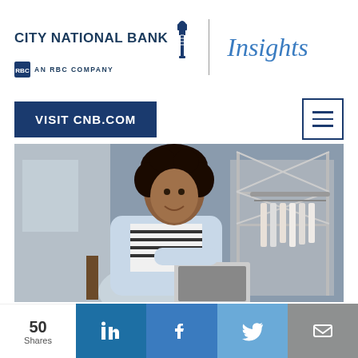[Figure (logo): City National Bank logo with torch icon, 'An RBC Company' tagline, vertical divider, and 'Insights' text in blue italic]
VISIT CNB.COM
[Figure (photo): Young woman with curly hair smiling while working on a laptop, seated in what appears to be a clothing boutique with garment racks in the background]
50 Shares